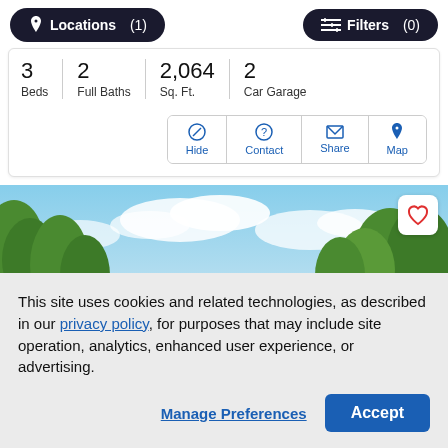[Figure (screenshot): Top navigation bar with 'Locations (1)' and 'Filters (0)' dark pill buttons]
3 Beds   2 Full Baths   2,064 Sq. Ft.   2 Car Garage
[Figure (screenshot): Action buttons row: Hide, Contact, Share, Map in a bordered button group]
[Figure (photo): Exterior photo of a property showing blue sky with clouds and green trees]
This site uses cookies and related technologies, as described in our privacy policy, for purposes that may include site operation, analytics, enhanced user experience, or advertising.
Manage Preferences   Accept